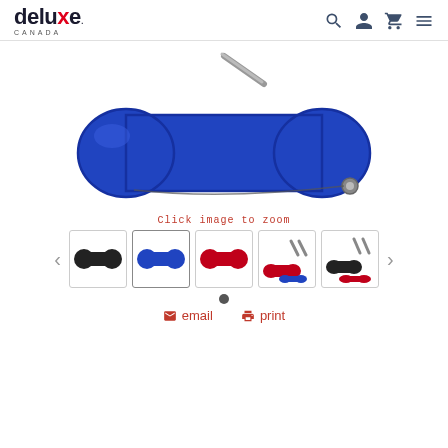deluxe CANADA
[Figure (photo): Blue bone-shaped eyeglass or pen case with zipper, product image for Deluxe Canada e-commerce site]
Click image to zoom
[Figure (photo): Row of 5 product thumbnail images showing the case in black, blue, red, red/blue with accessories, and black/red with accessories]
[Figure (other): Dot pagination indicator, one filled dot]
email   print